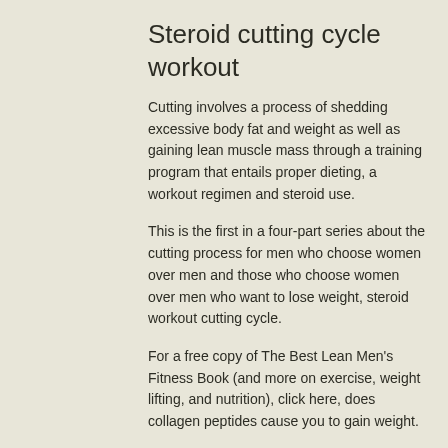Steroid cutting cycle workout
Cutting involves a process of shedding excessive body fat and weight as well as gaining lean muscle mass through a training program that entails proper dieting, a workout regimen and steroid use.
This is the first in a four-part series about the cutting process for men who choose women over men and those who choose women over men who want to lose weight, steroid workout cutting cycle.
For a free copy of The Best Lean Men's Fitness Book (and more on exercise, weight lifting, and nutrition), click here, does collagen peptides cause you to gain weight.